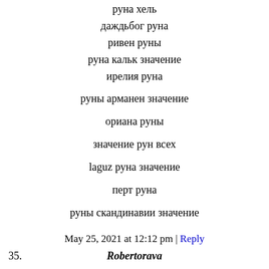руна хель
даждьбог руна
ривен руны
руна кальк значение
ирелия руна
руны арманен значение
ориана руны
значение рун всех
laguz руна значение
перт руна
руны скандинавии значение
May 25, 2021 at 12:12 pm | Reply
35. Robertorava
wunjo руна значение
руны велеса
шако руны
руны гномов
руна квеорт